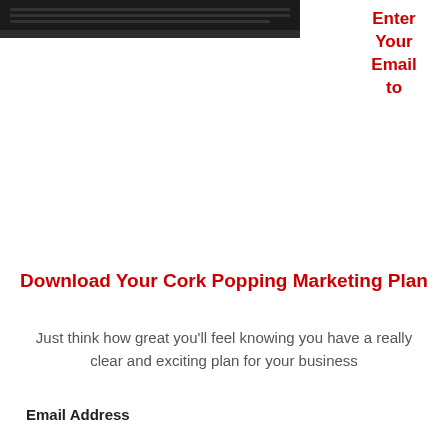[Figure (photo): Partial image of a laptop or device at the top left, showing a dark surface and keyboard edge, cut off at the top of the page.]
Enter
Your
Email
to
Download Your Cork Popping Marketing Plan
Just think how great you'll feel knowing you have a really clear and exciting plan for your business
Email Address